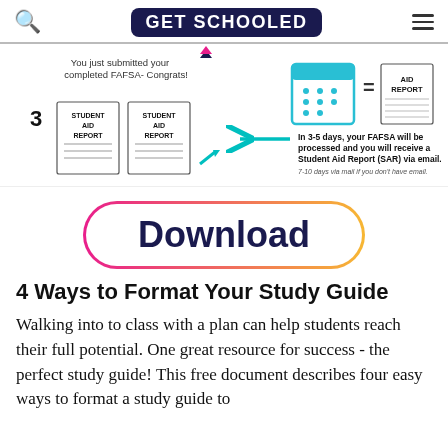GET SCHOOLED
[Figure (infographic): FAFSA infographic showing step 3: You just submitted your completed FAFSA- Congrats! In 3-5 days, your FAFSA will be processed and you will receive a Student Aid Report (SAR) via email. 7-10 days via mail if you don't have email. Icons show Student Aid Reports and a calendar equals Aid Report.]
[Figure (other): Download button with gradient pink-to-orange border, dark navy text reading 'Download']
4 Ways to Format Your Study Guide
Walking into to class with a plan can help students reach their full potential. One great resource for success - the perfect study guide! This free document describes four easy ways to format a study guide to